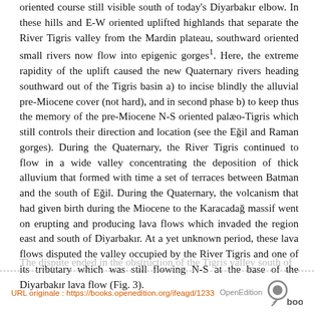oriented course still visible south of today's Diyarbakır elbow. In these hills and E-W oriented uplifted highlands that separate the River Tigris valley from the Mardin plateau, southward oriented small rivers now flow into epigenic gorges¹. Here, the extreme rapidity of the uplift caused the new Quaternary rivers heading southward out of the Tigris basin a) to incise blindly the alluvial pre-Miocene cover (not hard), and in second phase b) to keep thus the memory of the pre-Miocene N-S oriented palæo-Tigris which still controls their direction and location (see the Eğil and Raman gorges). During the Quaternary, the River Tigris continued to flow in a wide valley concentrating the deposition of thick alluvium that formed with time a set of terraces between Batman and the south of Eğil. During the Quaternary, the volcanism that had given birth during the Miocene to the Karacadağ massif went on erupting and producing lava flows which invaded the region east and south of Diyarbakır. At a yet unknown period, these lava flows disputed the valley occupied by the River Tigris and one of its tributary which was still flowing N-S at the base of the Diyarbakır lava flow (Fig. 3).
The dispute ended in the obstruction of the Tigris valley south of
URL originale : https://books.openedition.org/ifeagd/1233